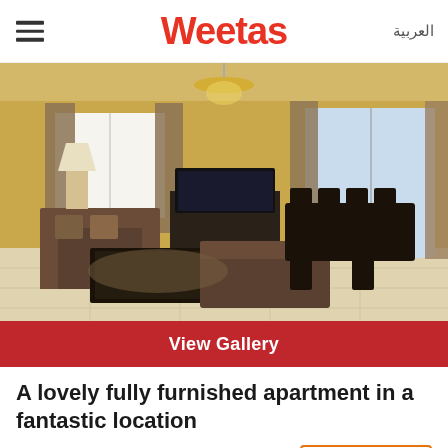Weetas | العربية
[Figure (photo): Interior photo of a furnished apartment living/dining room with brown sofas, coffee table, TV unit, dining table with chairs, chandelier, and balcony with sliding glass doors. Yellow walls and beige tile floor.]
View Gallery
A lovely fully furnished apartment in a fantastic location
700 BHD / MONTHLY
Ref ID: RR7396
INCLUSIVE